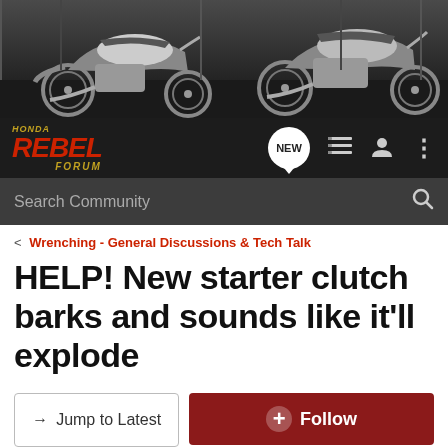[Figure (photo): Banner photo showing two Honda Rebel motorcycles in a dark garage/industrial setting]
[Figure (logo): Honda Rebel Forum logo with red italic REBEL text and gold Honda/Forum text, navigation icons including NEW button, list icon, user icon, and menu dots]
Search Community
< Wrenching - General Discussions & Tech Talk
HELP! New starter clutch barks and sounds like it'll explode
→ Jump to Latest
+ Follow
1 - 18 of 18 Posts